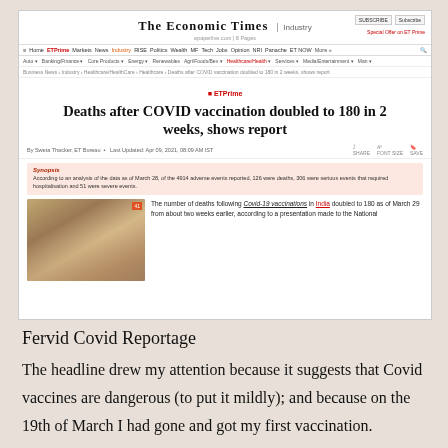[Figure (screenshot): Screenshot of The Economic Times website article: 'Deaths after COVID vaccination doubled to 180 in 2 weeks, shows report'. Shows website header, navigation bars, article title with ETPrime badge, byline, synopsis box with pink background, and article body with vaccination image.]
Fervid Covid Reportage
The headline drew my attention because it suggests that Covid vaccines are dangerous (to put it mildly); and because on the 19th of March I had gone and got my first vaccination.